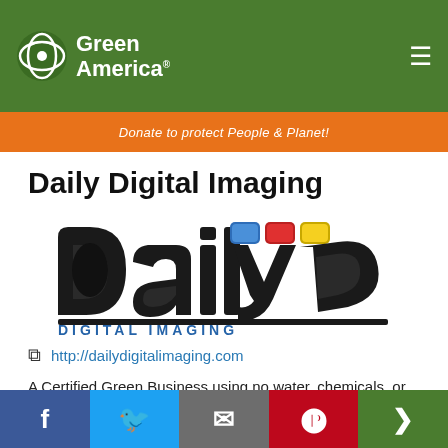Green America | Donate to protect People & Planet!
Daily Digital Imaging
[Figure (logo): Daily Digital Imaging logo — stylized 'daily' text in black with blue, red, and yellow colored squares, and 'DIGITAL IMAGING' text in blue below]
http://dailydigitalimaging.com
A Certified Green Business using no water, chemicals, or solvents. DDI's SmartDigital full color printing specializes in SmartDirect Mail and Marketing campaigns, and all of your general printing